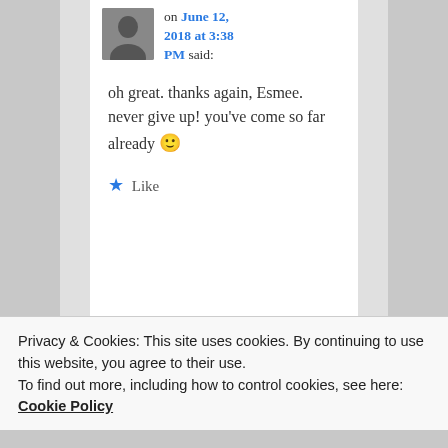on June 12, 2018 at 3:38 PM said:
oh great. thanks again, Esmee. never give up! you've come so far already 🙂
★ Like
Privacy & Cookies: This site uses cookies. By continuing to use this website, you agree to their use. To find out more, including how to control cookies, see here: Cookie Policy
Close and accept